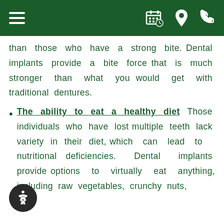Navigation bar with hamburger menu, calendar/schedule icon, location pin icon, phone icon
than those who have a strong bite. Dental implants provide a bite force that is much stronger than what you would get with traditional dentures.
The ability to eat a healthy diet Those individuals who have lost multiple teeth lack variety in their diet, which can lead to nutritional deficiencies. Dental implants provide options to virtually eat anything, including raw vegetables, crunchy nuts,